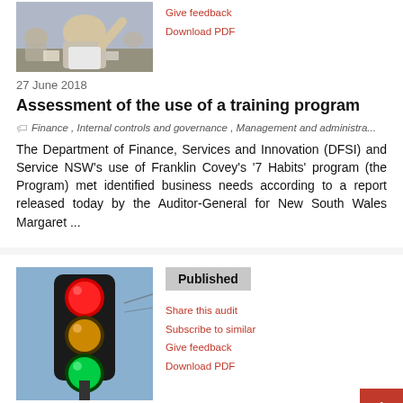[Figure (photo): Photo of a person in a meeting/training session, seen from behind, raising hand]
Give feedback
Download PDF
27 June 2018
Assessment of the use of a training program
Finance , Internal controls and governance , Management and administra...
The Department of Finance, Services and Innovation (DFSI) and Service NSW's use of Franklin Covey's '7 Habits' program (the Program) met identified business needs according to a report released today by the Auditor-General for New South Wales Margaret ...
[Figure (photo): Photo of a traffic light showing red, amber, and green lights]
Published
Share this audit
Subscribe to similar
Give feedback
Download PDF
22 June 2018